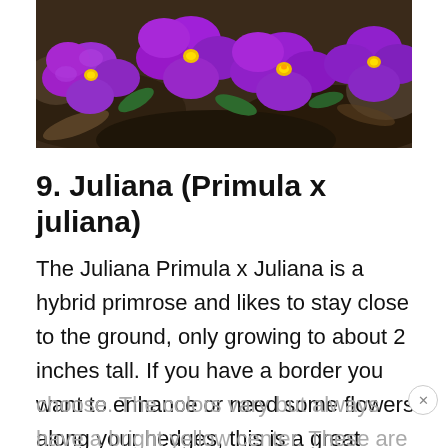[Figure (photo): Purple primula/primrose flowers with yellow centers growing close to dark soil ground]
9. Juliana (Primula x juliana)
The Juliana Primula x Juliana is a hybrid primrose and likes to stay close to the ground, only growing to about 2 inches tall. If you have a border you want to enhance or need some flowers along your hedges, this is a great species to choose. The colors vary but always have a bright yellow center. These are sturdy
choose. The colors vary but always have a bright yellow center. These are sturdy